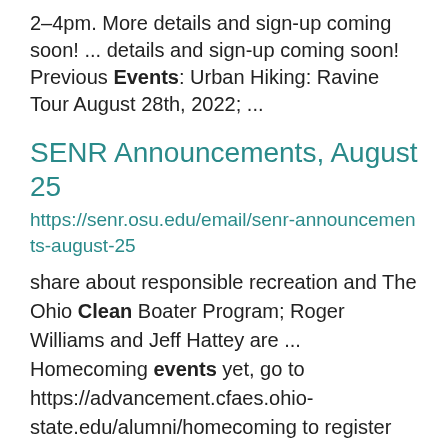2-4pm. More details and sign-up coming soon! ... details and sign-up coming soon! Previous Events: Urban Hiking: Ravine Tour August 28th, 2022; ...
SENR Announcements, August 25
https://senr.osu.edu/email/senr-announcements-august-25
share about responsible recreation and The Ohio Clean Boater Program; Roger Williams and Jeff Hattey are ... Homecoming events yet, go to https://advancement.cfaes.ohio-state.edu/alumni/homecoming to register and see ... under 3:00pm on Friday September 30th. If you have already...